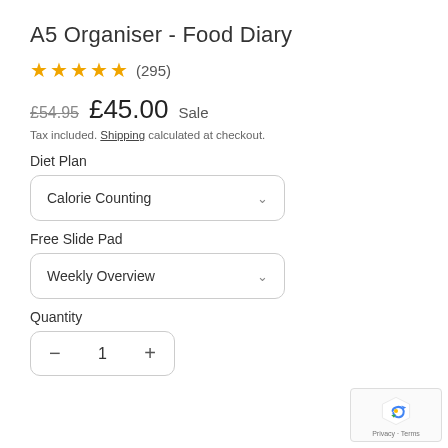A5 Organiser - Food Diary
★★★★★ (295)
£54.95  £45.00  Sale
Tax included. Shipping calculated at checkout.
Diet Plan
Calorie Counting
Free Slide Pad
Weekly Overview
Quantity
- 1 +